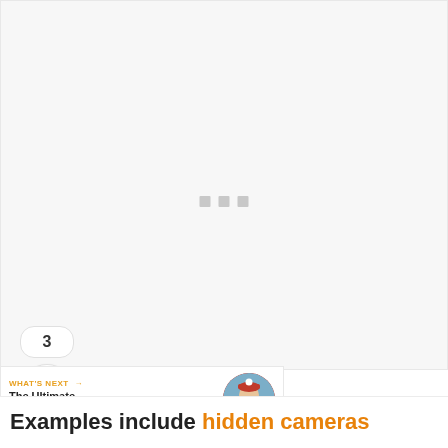[Figure (screenshot): Large light grey placeholder content area with three small grey square dots in the center, indicating a loading state. On the left side there is a teal circular like/heart button, a count bubble showing '3', and a white circular share button with a share icon.]
3
[Figure (screenshot): What's Next promo bar showing label 'WHAT'S NEXT →', title 'The Ultimate Tropicfeel...', and a circular thumbnail of a person in a red winter jacket and hat.]
WHAT'S NEXT → The Ultimate Tropicfeel...
Examples include hidden cameras